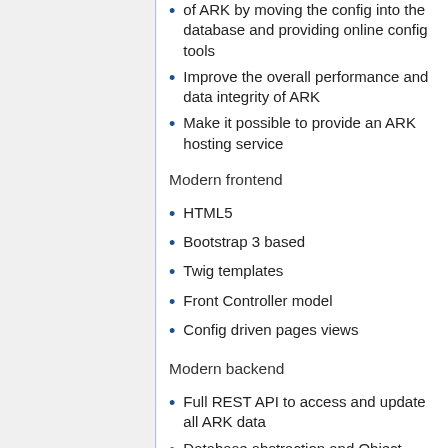of ARK by moving the config into the database and providing online config tools
Improve the overall performance and data integrity of ARK
Make it possible to provide an ARK hosting service
Modern frontend
HTML5
Bootstrap 3 based
Twig templates
Front Controller model
Config driven pages views
Modern backend
Full REST API to access and update all ARK data
Database abstraction and Object Relational Mapping